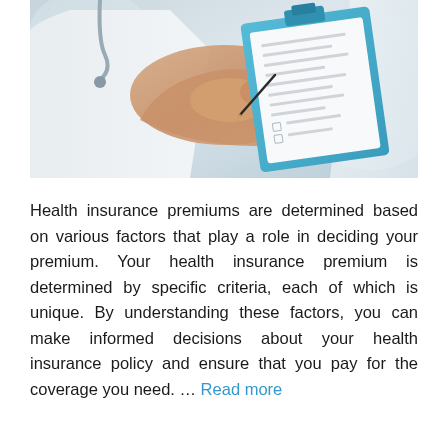[Figure (photo): Photo of a doctor in a white coat writing on a clipboard. The doctor's hands are visible holding a pen and writing on papers attached to a blue clipboard. A stethoscope is partially visible.]
Health insurance premiums are determined based on various factors that play a role in deciding your premium. Your health insurance premium is determined by specific criteria, each of which is unique. By understanding these factors, you can make informed decisions about your health insurance policy and ensure that you pay for the coverage you need. … Read more